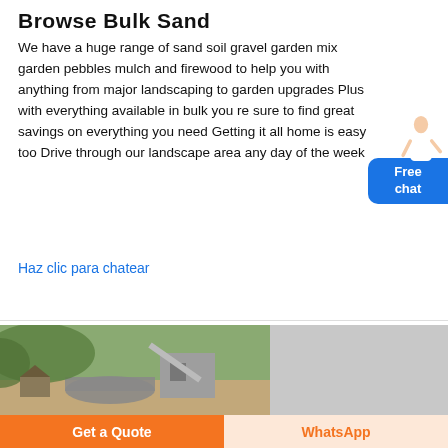Browse Bulk Sand
We have a huge range of sand soil gravel garden mix garden pebbles mulch and firewood to help you with anything from major landscaping to garden upgrades Plus with everything available in bulk you re sure to find great savings on everything you need Getting it all home is easy too Drive through our landscape area any day of the week
Haz clic para chatear
[Figure (photo): Outdoor landscape/quarry area with machinery, gravel, green hillside vegetation, and a building in the background]
Get a Quote
WhatsApp